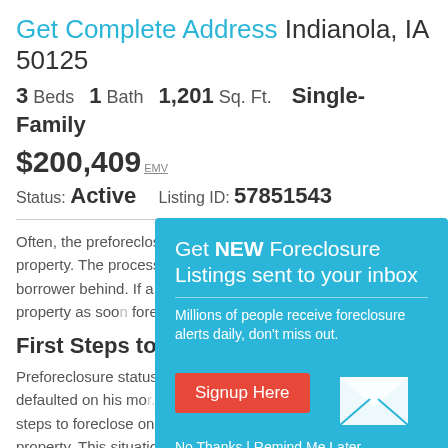Get Complete Address Indianola, IA 50125
3 Beds  1 Bath  1,201 Sq. Ft.  Single-Family
$200,409 EMV
Status: Active   Listing ID: 57851543
Often, the preforeclosure period is the best time to purchase a property. The process begins when a lender first notifies a borrower behind. If a borrower payments up to date the property as soon foreclosure.
First Steps to B...
Preforeclosure status defaulted on his mo... steps to foreclose on the loan and take possession of the property. This situation places the property owner and the lender in a disadvantageous position. But it may not be too late
[Figure (infographic): Popup overlay with teal background: 'Get NEW Foreclosure Listings sent to your inbox'. Subtitle: 'Millions of people receive foreclosure alerts daily, don't miss out.' Red 'Signup Here' button and envelope icon. Footer: 'No Thanks | Remind Me Later'.]